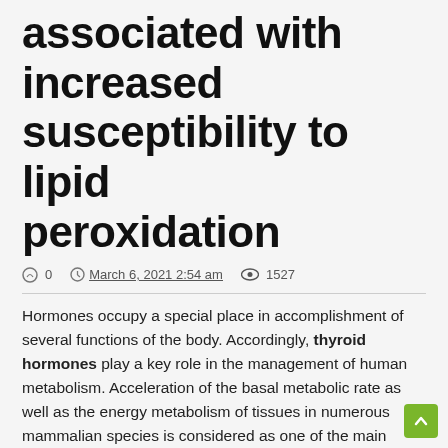associated with increased susceptibility to lipid peroxidation
0   March 6, 2021 2:54 am   1527
Hormones occupy a special place in accomplishment of several functions of the body. Accordingly, thyroid hormones play a key role in the management of human metabolism. Acceleration of the basal metabolic rate as well as the energy metabolism of tissues in numerous mammalian species is considered as one of the main functions of thyroid hormones 1.
Hypothyroidism is characterized by under activity of the thyroid gland; it is basically an ailment in which the thyroid gland produces less than the usual quantity of thyroid hormones (T3 and T4).